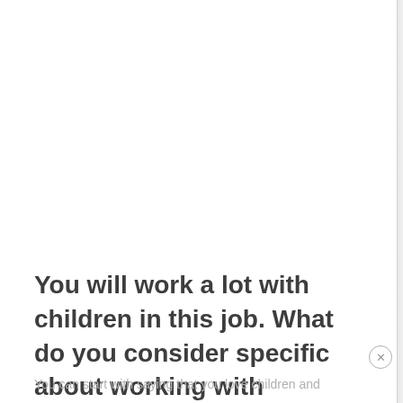You will work a lot with children in this job. What do you consider specific about working with children?
You can start with saying that you love children and